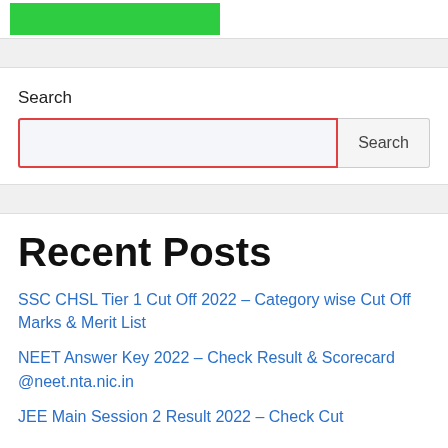[Figure (logo): Green logo banner at top of page]
Search
[Figure (screenshot): Search input box with red border and Search button]
Recent Posts
SSC CHSL Tier 1 Cut Off 2022 – Category wise Cut Off Marks & Merit List
NEET Answer Key 2022 – Check Result & Scorecard @neet.nta.nic.in
JEE Main Session 2 Result 2022 – Check Cut